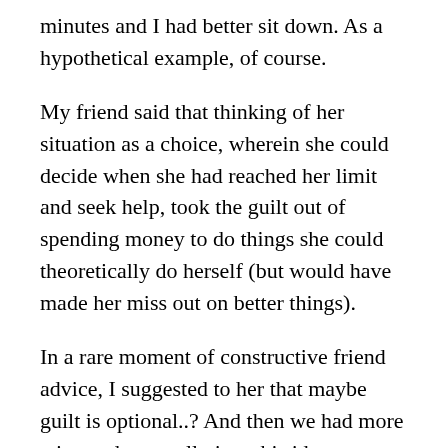minutes and I had better sit down. As a hypothetical example, of course.
My friend said that thinking of her situation as a choice, wherein she could decide when she had reached her limit and seek help, took the guilt out of spending money to do things she could theoretically do herself (but would have made her miss out on better things).
In a rare moment of constructive friend advice, I suggested to her that maybe guilt is optional..? And then we had more wine and got really into this idea.
Guilt is f*cking optional, bitchesssss!